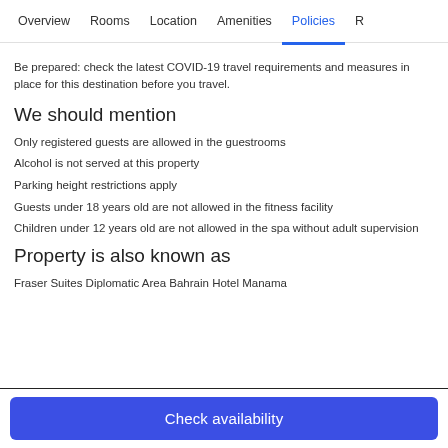Overview  Rooms  Location  Amenities  Policies  R
Be prepared: check the latest COVID-19 travel requirements and measures in place for this destination before you travel.
We should mention
Only registered guests are allowed in the guestrooms
Alcohol is not served at this property
Parking height restrictions apply
Guests under 18 years old are not allowed in the fitness facility
Children under 12 years old are not allowed in the spa without adult supervision
Property is also known as
Fraser Suites Diplomatic Area Bahrain Hotel Manama
Check availability